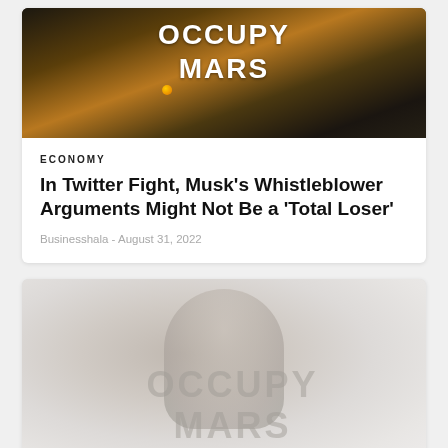[Figure (photo): Person wearing a black 'OCCUPY MARS' t-shirt with orange dot, against dark background with foliage]
ECONOMY
In Twitter Fight, Musk’s Whistleblower Arguments Might Not Be a ‘Total Loser’
Businesshala - August 31, 2022
[Figure (photo): Faded/washed out photo of person wearing 'OCCUPY MARS' shirt, lighter toned version of top image]